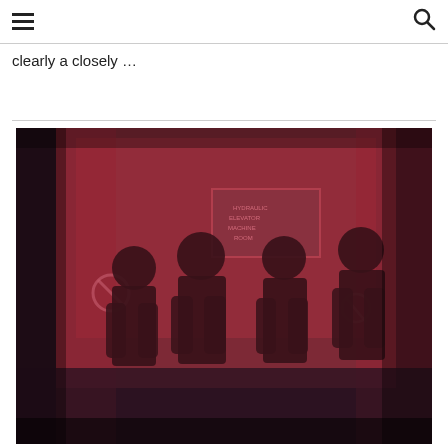≡  🔍
clearly a closely …
[Figure (photo): Four men standing in front of a concrete wall with signage, photo treated with a red/dark duotone effect. A sign reading 'HYDRAULIC ELEVATOR MACHINE ROOM' is visible in the background.]